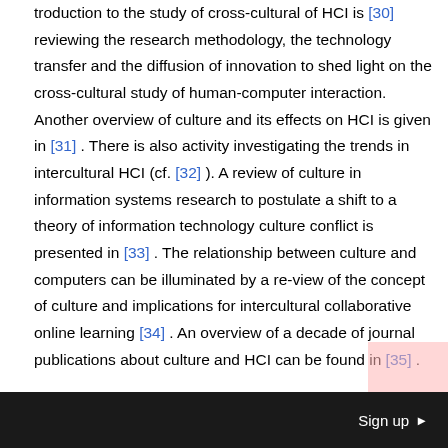troduction to the study of cross-cultural of HCI is [30] reviewing the research methodology, the technology transfer and the diffusion of innovation to shed light on the cross-cultural study of human-computer interaction. Another overview of culture and its effects on HCI is given in [31] . There is also activity investigating the trends in intercultural HCI (cf. [32] ). A review of culture in information systems research to postulate a shift to a theory of information technology culture conflict is presented in [33] . The relationship between culture and computers can be illuminated by a re-view of the concept of culture and implications for intercultural collaborative online learning [34] . An overview of a decade of journal publications about culture and HCI can be found in [35] .
From this, several “hypes” can be identified in this area. The first one happened in the early 1990ies. The next one was around 2000
Sign up